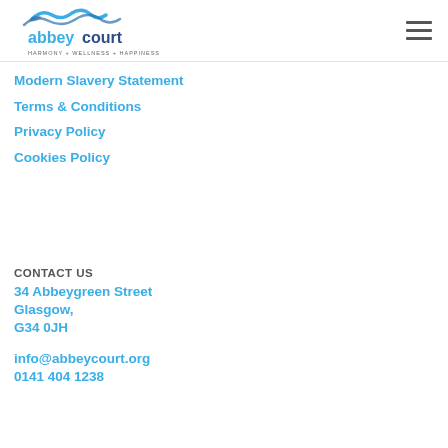[Figure (logo): Abbey Court logo with wave graphic above text 'abbeycourt' and tagline 'HARMONY + WELLNESS + HAPPINESS']
Modern Slavery Statement
Terms & Conditions
Privacy Policy
Cookies Policy
CONTACT US
34 Abbeygreen Street
Glasgow,
G34 0JH
info@abbeycourt.org
0141 404 1238